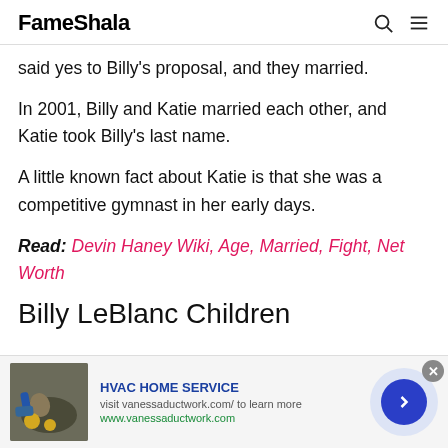FameShala
said yes to Billy's proposal, and they married.
In 2001, Billy and Katie married each other, and Katie took Billy's last name.
A little known fact about Katie is that she was a competitive gymnast in her early days.
Read: Devin Haney Wiki, Age, Married, Fight, Net Worth
Billy LeBlanc Children